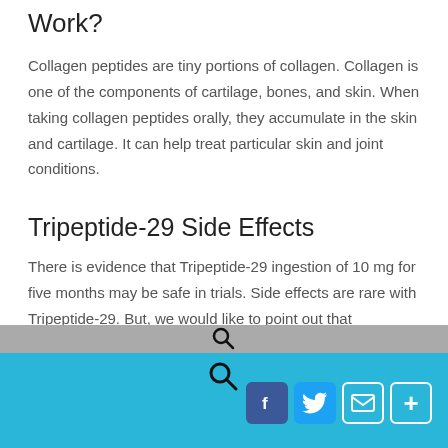Work?
Collagen peptides are tiny portions of collagen. Collagen is one of the components of cartilage, bones, and skin. When taking collagen peptides orally, they accumulate in the skin and cartilage. It can help treat particular skin and joint conditions.
Tripeptide-29 Side Effects
There is evidence that Tripeptide-29 ingestion of 10 mg for five months may be safe in trials. Side effects are rare with Tripeptide-29. But, we would like to point out that Tripeptide-29 is a research peptide. It is not for human
[search icon] [Facebook] [Twitter] [Email] [Share]